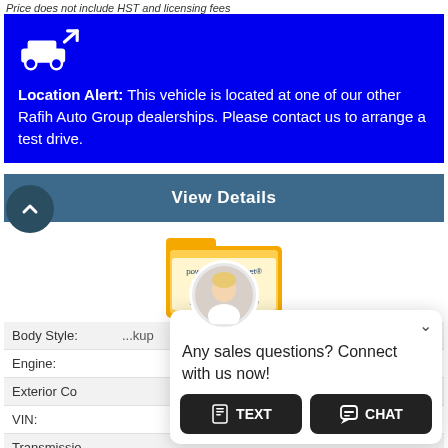Price does not include HST and licensing fees
[Figure (infographic): Blue banner with white car icon with upward arrow and location alert text: Location Alert: This vehicle is located at one of our other Rafih Auto Group dealerships. Please contact us to arrange a test drive.]
Location Alert: This vehicle is located at one of our other Rafih Auto Group dealerships. Please contact us to arrange a test drive.
[Figure (screenshot): View Details button in steel blue]
[Figure (logo): powered by iPacket VEHICLE RECORDS badge in yellow folder style]
| Field | Value |
| --- | --- |
| Body Style: | ...kup |
| Engine: |  |
| Exterior Co |  |
| VIN: | ...e |
| Transmissio |  |
| Drivetrain: |  |
| Stock #: |  |
[Figure (screenshot): Chat overlay widget with female avatar, close chevron, text 'Any sales questions? Connect with us now!' and TEXT and CHAT buttons]